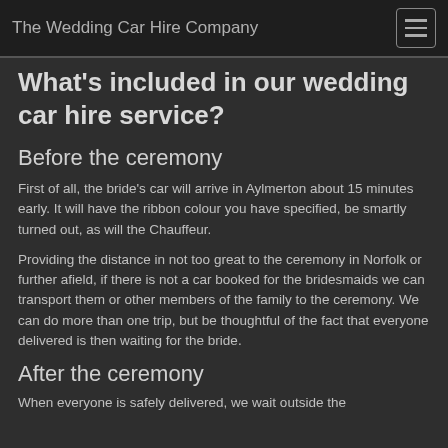The Wedding Car Hire Company
What's included in our wedding car hire service?
Before the ceremony
First of all, the bride's car will arrive in Aylmerton about 15 minutes early. It will have the ribbon colour you have specified, be smartly turned out, as will the Chauffeur.
Providing the distance in not too great to the ceremony in Norfolk or further afield, if there is not a car booked for the bridesmaids we can transport them or other members of the family to the ceremony. We can do more than one trip, but be thoughtful of the fact that everyone delivered is then waiting for the bride.
After the ceremony
When everyone is safely delivered, we wait outside the